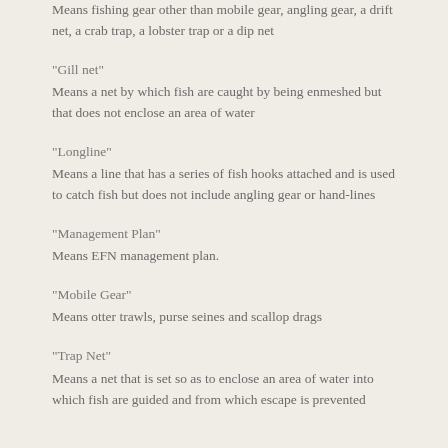Means fishing gear other than mobile gear, angling gear, a drift net, a crab trap, a lobster trap or a dip net
“Gill net”
Means a net by which fish are caught by being enmeshed but that does not enclose an area of water
“Longline”
Means a line that has a series of fish hooks attached and is used to catch fish but does not include angling gear or hand-lines
“Management Plan”
Means EFN management plan.
“Mobile Gear”
Means otter trawls, purse seines and scallop drags
“Trap Net”
Means a net that is set so as to enclose an area of water into which fish are guided and from which escape is prevented